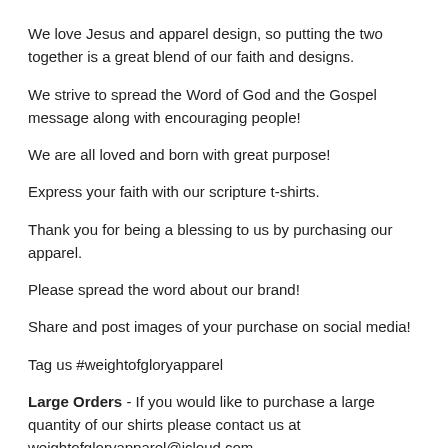We love Jesus and apparel design, so putting the two together is a great blend of our faith and designs.
We strive to spread the Word of God and the Gospel message along with encouraging people!
We are all loved and born with great purpose!
Express your faith with our scripture t-shirts.
Thank you for being a blessing to us by purchasing our apparel.
Please spread the word about our brand!
Share and post images of your purchase on social media!
Tag us #weightofgloryapparel
Large Orders - If you would like to purchase a large quantity of our shirts please contact us at weightofgloryapparel@icloud.com